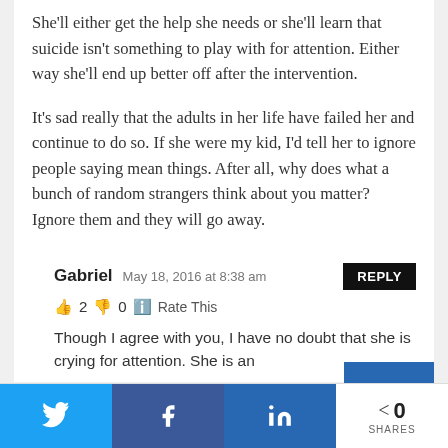She'll either get the help she needs or she'll learn that suicide isn't something to play with for attention. Either way she'll end up better off after the intervention.

It's sad really that the adults in her life have failed her and continue to do so. If she were my kid, I'd tell her to ignore people saying mean things. After all, why does what a bunch of random strangers think about you matter? Ignore them and they will go away.
Gabriel  May 18, 2016 at 8:38 am  REPLY
👍 2 👎 0 ℹ️ Rate This
Though I agree with you, I have no doubt that she is crying for attention. She is an
Twitter share | Facebook share | LinkedIn share | 0 SHARES